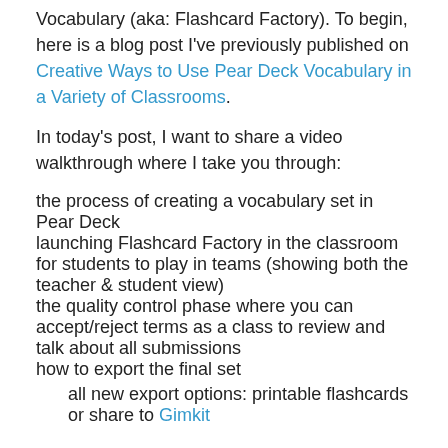Vocabulary (aka: Flashcard Factory). To begin, here is a blog post I've previously published on Creative Ways to Use Pear Deck Vocabulary in a Variety of Classrooms.
In today's post, I want to share a video walkthrough where I take you through:
the process of creating a vocabulary set in Pear Deck
launching Flashcard Factory in the classroom for students to play in teams (showing both the teacher & student view)
the quality control phase where you can accept/reject terms as a class to review and talk about all submissions
how to export the final set
all new export options: printable flashcards or share to Gimkit